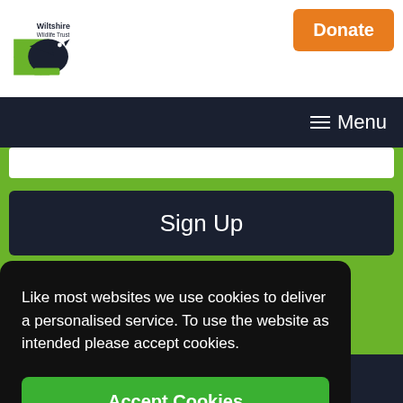[Figure (logo): Wiltshire Wildlife Trust logo with stylized black bird on green background]
Donate
Menu
Sign Up
Like most websites we use cookies to deliver a personalised service. To use the website as intended please accept cookies.
Accept Cookies
Jobs